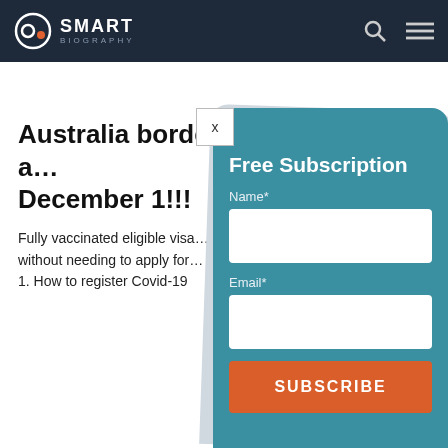SMART BIOGRAPHY
Australia borders a… December 1!!!
Fully vaccinated eligible visa… without needing to apply for… 1. How to register Covid-19
[Figure (screenshot): Free Subscription modal overlay with Name and Email fields and SUBSCRIBE button on teal background with X close button]
Free Subscription
Name*
Email*